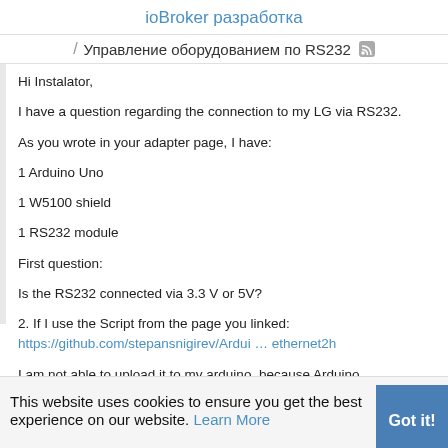ioBroker разработка
/ Управление оборудованием по RS232
Hi Instalator,

I have a question regarding the connection to my LG via RS232.

As you wrote in your adapter page, I have:

1 Arduino Uno

1 W5100 shield

1 RS232 module

First question:

Is the RS232 connected via 3.3 V or 5V?

2. If I use the Script from the page you linked:
https://github.com/stepansnigirev/Ardui … ethernet2h

I am not able to upload it to my arduino, because Arduino
UNO does not support Serial1
This website uses cookies to ensure you get the best experience on our website. Learn More